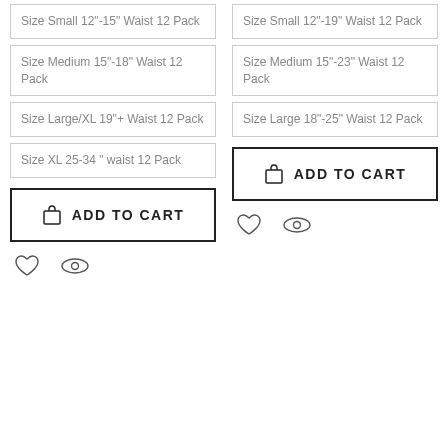Size Small 12"-15" Waist 12 Pack
Size Medium 15"-18" Waist 12 Pack
Size Large/XL 19"+ Waist 12 Pack
Size XL 25-34 " waist 12 Pack
ADD TO CART
Size Small 12"-19" Waist 12 Pack
Size Medium 15"-23" Waist 12 Pack
Size Large 18"-25" Waist 12 Pack
ADD TO CART